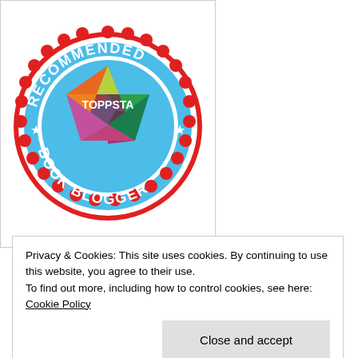[Figure (logo): Toppsta Recommended Book Blogger badge — circular blue badge with red scalloped border. Text reads RECOMMENDED at top, BOOK BLOGGER at bottom, and TOPPSTA in center over a colorful star logo.]
[Figure (illustration): Bottom of a gold/red medal ribbon visible at bottom of page]
Privacy & Cookies: This site uses cookies. By continuing to use this website, you agree to their use.
To find out more, including how to control cookies, see here: Cookie Policy
Close and accept